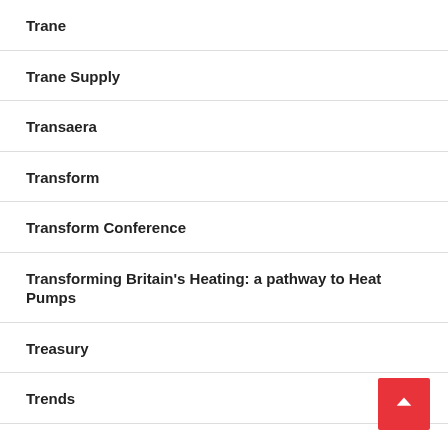Trane
Trane Supply
Transaera
Transform
Transform Conference
Transforming Britain's Heating: a pathway to Heat Pumps
Treasury
Trends